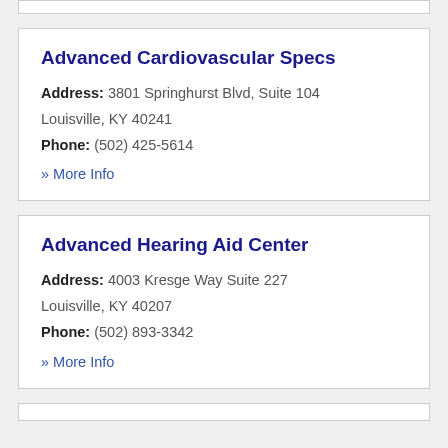Advanced Cardiovascular Specs
Address: 3801 Springhurst Blvd, Suite 104 Louisville, KY 40241
Phone: (502) 425-5614
» More Info
Advanced Hearing Aid Center
Address: 4003 Kresge Way Suite 227 Louisville, KY 40207
Phone: (502) 893-3342
» More Info